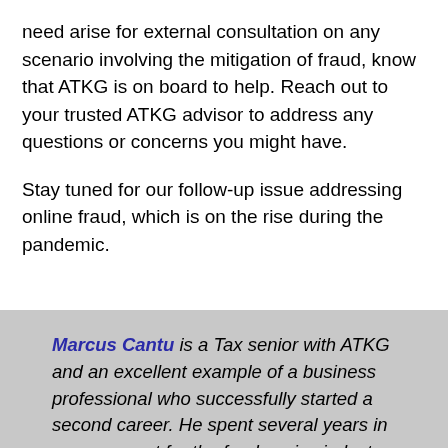need arise for external consultation on any scenario involving the mitigation of fraud, know that ATKG is on board to help. Reach out to your trusted ATKG advisor to address any questions or concerns you might have.
Stay tuned for our follow-up issue addressing online fraud, which is on the rise during the pandemic.
Marcus Cantu is a Tax senior with ATKG and an excellent example of a business professional who successfully started a second career. He spent several years in management for the foodservice industry before starting his career in public accounting. He is a proud, two-time the University of Texas at San Antonio alumnus with a Master of